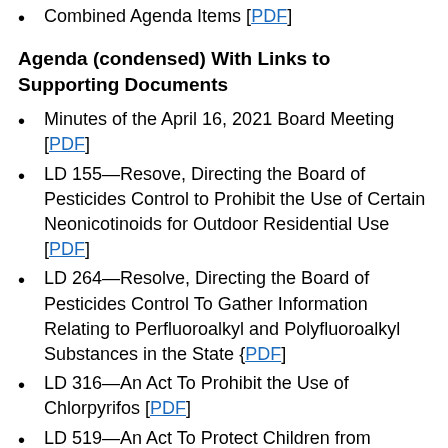Combined Agenda Items [PDF]
Agenda (condensed) With Links to Supporting Documents
Minutes of the April 16, 2021 Board Meeting [PDF]
LD 155—Resove, Directing the Board of Pesticides Control to Prohibit the Use of Certain Neonicotinoids for Outdoor Residential Use [PDF]
LD 264—Resolve, Directing the Board of Pesticides Control To Gather Information Relating to Perfluoroalkyl and Polyfluoroalkyl Substances in the State {PDF]
LD 316—An Act To Prohibit the Use of Chlorpyrifos [PDF]
LD 519—An Act To Protect Children from Exposure to Toxic Chemicals [PDF]